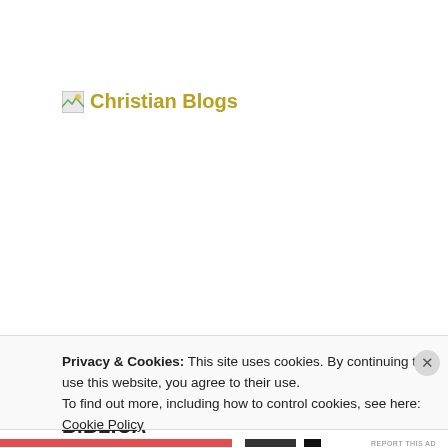[Figure (logo): Broken image icon followed by 'Christian Blogs' text in gold/olive color]
BIBLICA
[Figure (photo): Teal/blue textured background with a white cross/plus symbol logo]
Privacy & Cookies: This site uses cookies. By continuing to use this website, you agree to their use.
To find out more, including how to control cookies, see here: Cookie Policy
Close and accept